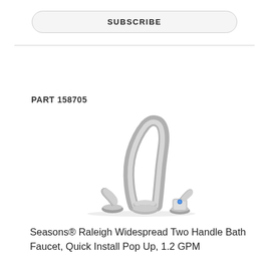SUBSCRIBE
PART 158705
[Figure (photo): Brushed nickel widespread two-handle bathroom faucet with arched spout, shown with two separate handle valves — one with a blue indicator dot]
Seasons® Raleigh Widespread Two Handle Bath Faucet, Quick Install Pop Up, 1.2 GPM